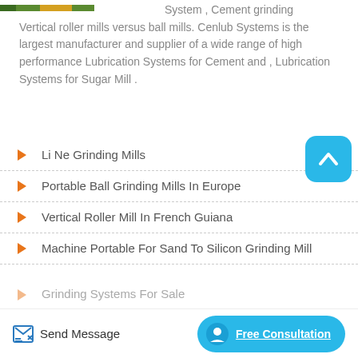[Figure (photo): Partial image visible at top left corner, appears to show industrial/outdoor scene with green and orange colors]
System , Cement grinding Vertical roller mills versus ball mills. Cenlub Systems is the largest manufacturer and supplier of a wide range of high performance Lubrication Systems for Cement and , Lubrication Systems for Sugar Mill .
Li Ne Grinding Mills
Portable Ball Grinding Mills In Europe
Vertical Roller Mill In French Guiana
Machine Portable For Sand To Silicon Grinding Mill
Grinding Systems For Sale (partial, cut off)
[Figure (other): Blue rounded square widget with upward chevron/caret icon at top right]
Send Message   Free Consultation